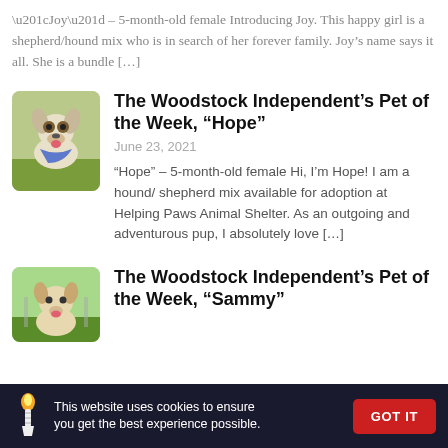“Joy” – 5-month-old female Introducing Joy. This happy girl is a shepherd/hound mix who is in search of her forever family. Joy’s name says it all. She is a bundle […]
[Figure (photo): Photo of a small dog (chihuahua-like, white and brown) looking upward with tongue out, wearing a blue bandana, outdoors on grass.]
The Woodstock Independent’s Pet of the Week, “Hope”
June 23, 2021
“Hope” – 5-month-old female Hi, I’m Hope! I am a hound/ shepherd mix available for adoption at Helping Paws Animal Shelter. As an outgoing and adventurous pup, I absolutely love […]
[Figure (photo): Photo of a light-colored dog (shepherd mix) outdoors, smiling with mouth open, green fence/yard in background.]
The Woodstock Independent’s Pet of the Week, “Sammy”
This website uses cookies to ensure you get the best experience possible.